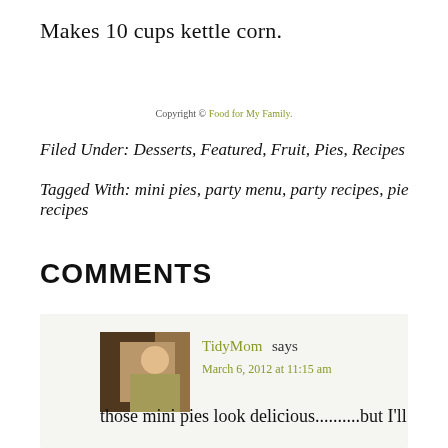Makes 10 cups kettle corn.
Copyright © Food for My Family.
Filed Under: Desserts, Featured, Fruit, Pies, Recipes
Tagged With: mini pies, party menu, party recipes, pie recipes
COMMENTS
TidyMom says
March 6, 2012 at 11:15 am
those mini pies look delicious..........but I'll